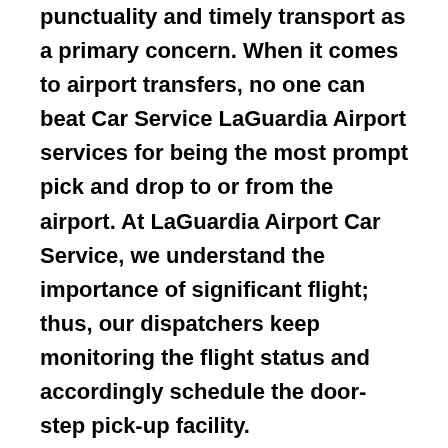punctuality and timely transport as a primary concern. When it comes to airport transfers, no one can beat Car Service LaGuardia Airport services for being the most prompt pick and drop to or from the airport. At LaGuardia Airport Car Service, we understand the importance of significant flight; thus, our dispatchers keep monitoring the flight status and accordingly schedule the door-step pick-up facility.
If you have booked us for Car Service to LaGuardia Airport from Smethport, PA, our diligent and knowledgeable driver, make sure to pick the shortest route possible for your convenient and timely transit. The highly skilled and talented chauffeur of Luxury Car Service LaGuardia Airport